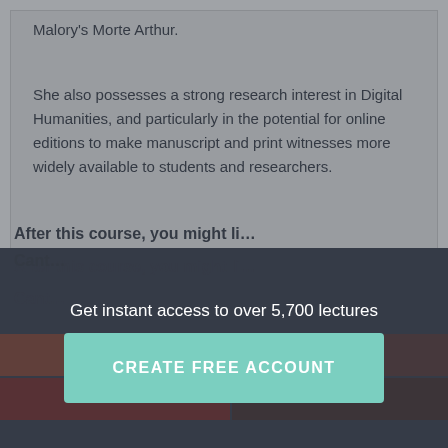Malory's Morte Arthur.
She also possesses a strong research interest in Digital Humanities, and particularly in the potential for online editions to make manuscript and print witnesses more widely available to students and researchers.
After this course, you might li…
Cant…
Get instant access to over 5,700 lectures
CREATE FREE ACCOUNT